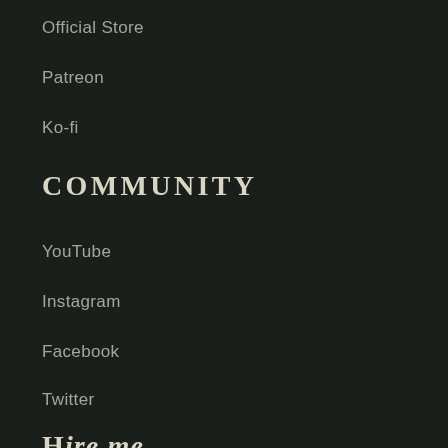Official Store
Patreon
Ko-fi
COMMUNITY
YouTube
Instagram
Facebook
Twitter
Hire me
Want to hire me for passion...